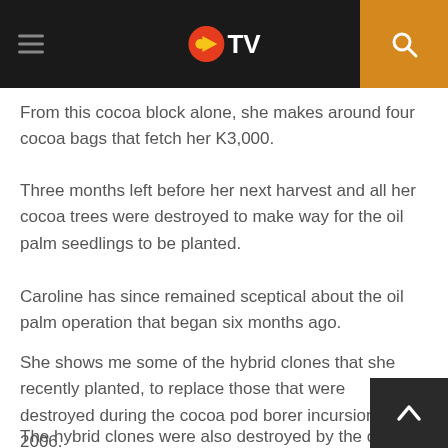EMTV
From this cocoa block alone, she makes around four cocoa bags that fetch her K3,000.
Three months left before her next harvest and all her cocoa trees were destroyed to make way for the oil palm seedlings to be planted.
Caroline has since remained sceptical about the oil palm operation that began six months ago.
She shows me some of the hybrid clones that she recently planted, to replace those that were destroyed during the cocoa pod borer incursion in 2006.
The hybrid clones were also destroyed by the oil palm developers.